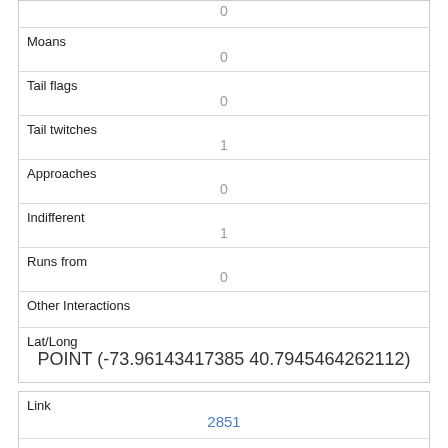| 0 |
| Moans | 0 |
| Tail flags | 0 |
| Tail twitches | 1 |
| Approaches | 0 |
| Indifferent | 1 |
| Runs from | 0 |
| Other Interactions |  |
| Lat/Long | POINT (-73.96143417385 40.7945464262112) |
| Link | 2851 |
| rowid |  |